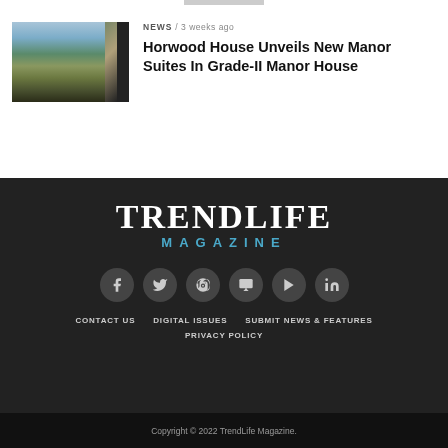NEWS / 3 weeks ago
Horwood House Unveils New Manor Suites In Grade-II Manor House
[Figure (photo): Photo of Horwood House, a historic manor building with stone facade and gardens, with a dark vertical band on the right]
[Figure (logo): TrendLife Magazine logo in white serif font with MAGAZINE in blue below]
CONTACT US   DIGITAL ISSUES   SUBMIT NEWS & FEATURES
PRIVACY POLICY
Copyright © 2022 TrendLife Magazine.